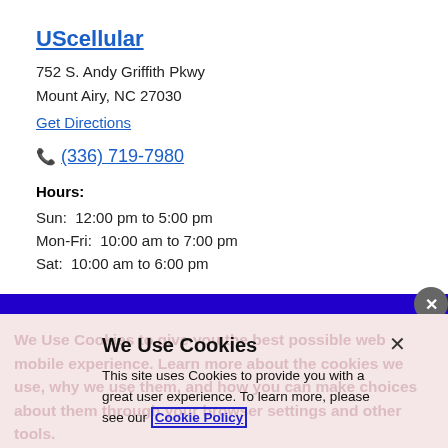UScellular
752 S. Andy Griffith Pkwy
Mount Airy, NC 27030
Get Directions
(336) 719-7980
Hours:
Sun:  12:00 pm to 5:00 pm
Mon-Fri:  10:00 am to 7:00 pm
Sat:  10:00 am to 6:00 pm
We Use Cookies
This site uses Cookies to provide you with a great user experience. To learn more, please see our Cookie Policy
Cookie Preference Center